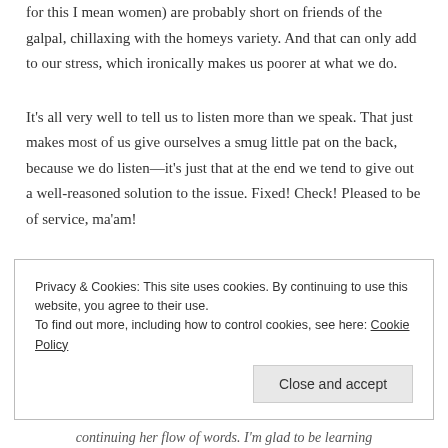for this I mean women) are probably short on friends of the galpal, chillaxing with the homeys variety. And that can only add to our stress, which ironically makes us poorer at what we do.
It's all very well to tell us to listen more than we speak. That just makes most of us give ourselves a smug little pat on the back, because we do listen—it's just that at the end we tend to give out a well-reasoned solution to the issue. Fixed! Check! Pleased to be of service, ma'am!
Privacy & Cookies: This site uses cookies. By continuing to use this website, you agree to their use.
To find out more, including how to control cookies, see here: Cookie Policy
Close and accept
continuing her flow of words. I'm glad to be learning